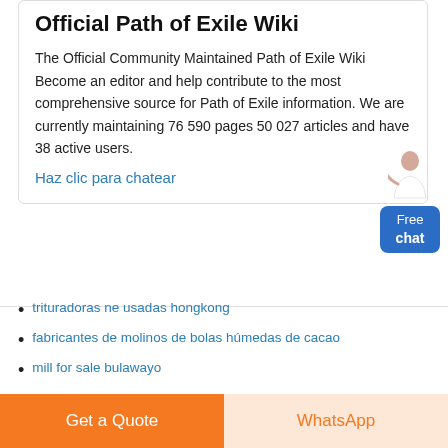Official Path of Exile Wiki
The Official Community Maintained Path of Exile Wiki Become an editor and help contribute to the most comprehensive source for Path of Exile information. We are currently maintaining 76 590 pages 50 027 articles and have 38 active users.
Haz clic para chatear
trituradoras ne usadas hongkong
fabricantes de molinos de bolas húmedas de cacao
mill for sale bulawayo
montaje de molino de rodillos de molienda pfiffer para plantas de yeso videos
Get a Quote
WhatsApp